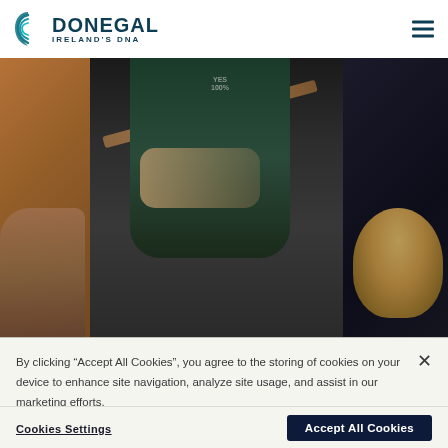DONEGAL IRELAND'S DNA
[Figure (photo): People playing traditional Irish music instruments including guitar/fiddle in what appears to be a pub session. A person in dark clothing plays guitar in the center, a man with grey hair is visible on the left, and a blonde person is partially visible on the right.]
By clicking “Accept All Cookies”, you agree to the storing of cookies on your device to enhance site navigation, analyze site usage, and assist in our marketing efforts.
Cookies Settings
Accept All Cookies